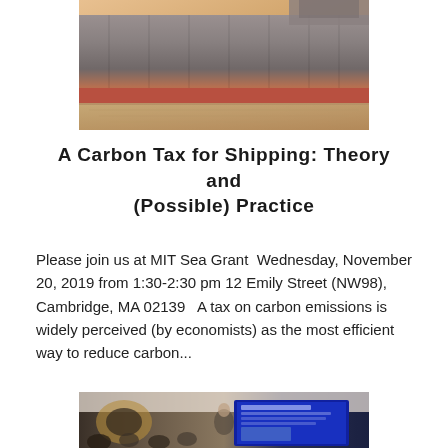[Figure (photo): Close-up photograph of the hull of a large cargo/container ship at water level, with warm orange-brown tones from a sunset or sunrise sky in the background.]
A Carbon Tax for Shipping: Theory and (Possible) Practice
Please join us at MIT Sea Grant  Wednesday, November 20, 2019 from 1:30-2:30 pm 12 Emily Street (NW98), Cambridge, MA 02139   A tax on carbon emissions is widely perceived (by economists) as the most efficient way to reduce carbon...
[Figure (photo): Photograph of a seminar or meeting room with people seated at tables and a presenter near a screen showing a Massachusetts Institute of Technology presentation slide.]